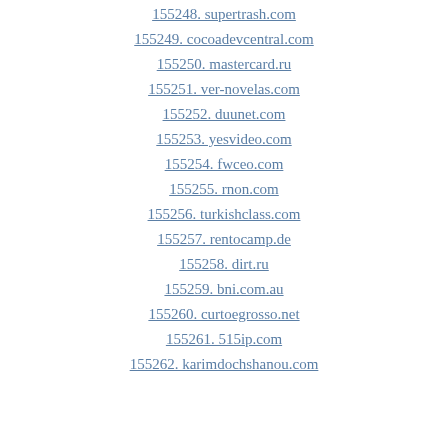155248. supertrash.com
155249. cocoadevcentral.com
155250. mastercard.ru
155251. ver-novelas.com
155252. duunet.com
155253. yesvideo.com
155254. fwceo.com
155255. rnon.com
155256. turkishclass.com
155257. rentocamp.de
155258. dirt.ru
155259. bni.com.au
155260. curtoegrosso.net
155261. 515ip.com
155262. karimdochshanou.com